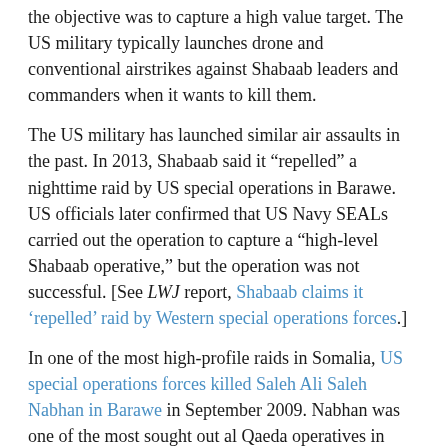the objective was to capture a high value target. The US military typically launches drone and conventional airstrikes against Shabaab leaders and commanders when it wants to kill them.
The US military has launched similar air assaults in the past. In 2013, Shabaab said it “repelled” a nighttime raid by US special operations in Barawe. US officials later confirmed that US Navy SEALs carried out the operation to capture a “high-level Shabaab operative,” but the operation was not successful. [See LWJ report, Shabaab claims it ‘repelled’ raid by Western special operations forces.]
In one of the most high-profile raids in Somalia, US special operations forces killed Saleh Ali Saleh Nabhan in Barawe in September 2009. Nabhan was one of the most sought out al Qaeda operatives in Africa. He was wanted for involvement in al Qaeda’s 1998 suicide attacks against US embassies in Kenya and Tanzania. Before he was killed, he served as a top leader in both Shabaab and Al Qaeda East Africa, and also was instrumental in facilitating the official merger between al Qaeda and Shabaab. Shabaab has named a military “brigade” after Nabhan.